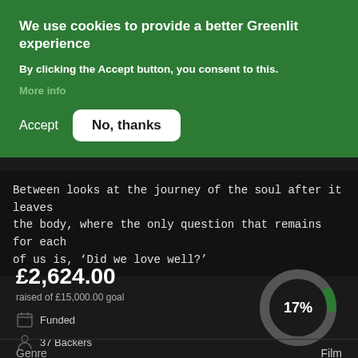We use cookies to provide a better Greenlit experience
By clicking the Accept button, you consent to this.
Accept   No, thanks
Between looks at the journey of the soul after it leaves the body, where the only question that remains for each of us is, ‘Did we love well?’
[Figure (donut-chart): Donut chart showing 17% funded]
£2,624.00
raised of £15,000.00 goal
Funded
37 Backers
| Genre | Film |
| --- | --- |